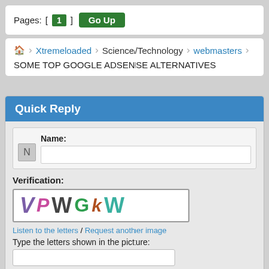Pages: [ 1 ] Go Up
Xtremeloaded › Science/Technology › webmasters › SOME TOP GOOGLE ADSENSE ALTERNATIVES
Quick Reply
Name:
Verification:
[Figure (other): CAPTCHA image showing colorful letters: VPWGkW]
Listen to the letters / Request another image
Type the letters shown in the picture: